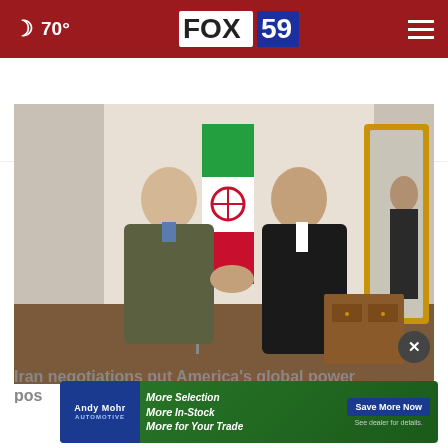🌙 70° FOX 59
AROUND THE WEB
[Figure (photo): Two men shaking hands in front of an Iranian flag. A green flag is visible in the background along with an ornate gold mirror and wooden furniture.]
Iran negotiations put America's global power pos
[Figure (other): Andy Mohr Automotive advertisement banner: More Selection, More In-Stock, More for Your Trade. Save More Now. See dealer for details.]